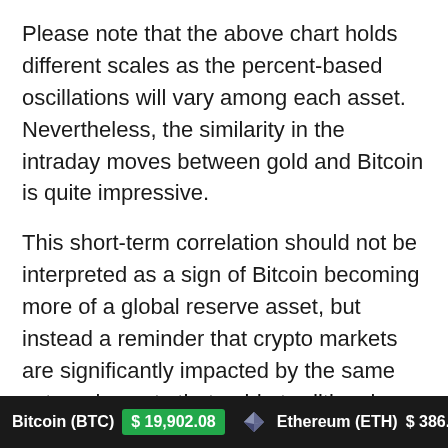Please note that the above chart holds different scales as the percent-based oscillations will vary among each asset. Nevertheless, the similarity in the intraday moves between gold and Bitcoin is quite impressive.
This short-term correlation should not be interpreted as a sign of Bitcoin becoming more of a global reserve asset, but instead a reminder that crypto markets are significantly impacted by the same external events that guide traditional markets.
As for the remaining futures market expiries throughout the year, one should keep a close eye on the basis (contango) and top traders long/short ratio as both provide valuable insight into the sentiment of larger
Bitcoin (BTC) $19,902.08    Ethereum (ETH) $386.52